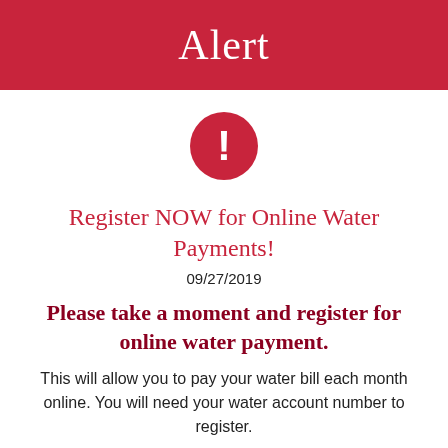Alert
[Figure (illustration): Red circle with white exclamation mark alert icon]
Register NOW for Online Water Payments!
09/27/2019
Please take a moment and register for online water payment.
This will allow you to pay your water bill each month online. You will need your water account number to register.